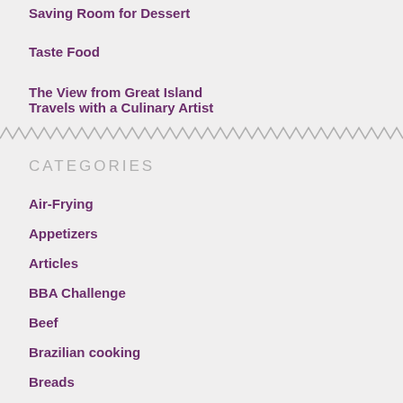Saving Room for Dessert
Taste Food
The View from Great Island
Travels with a Culinary Artist
[Figure (other): Zigzag/wavy decorative divider line in gray]
CATEGORIES
Air-Frying
Appetizers
Articles
BBA Challenge
Beef
Brazilian cooking
Breads
Breakfast & Brunch